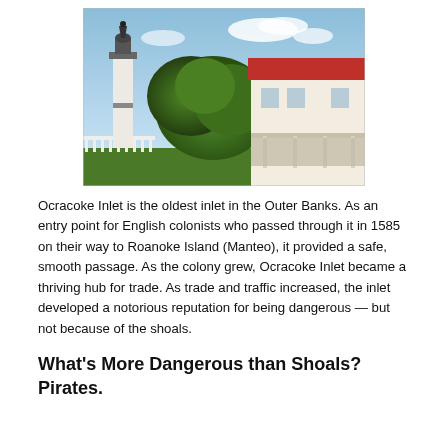[Figure (photo): Photograph of Ocracoke Lighthouse, a white lighthouse tower with a large green tree in the foreground and a white house with a red roof to the right, under a blue sky with green grass in front.]
Ocracoke Inlet is the oldest inlet in the Outer Banks. As an entry point for English colonists who passed through it in 1585 on their way to Roanoke Island (Manteo), it provided a safe, smooth passage. As the colony grew, Ocracoke Inlet became a thriving hub for trade. As trade and traffic increased, the inlet developed a notorious reputation for being dangerous — but not because of the shoals.
What's More Dangerous than Shoals? Pirates.